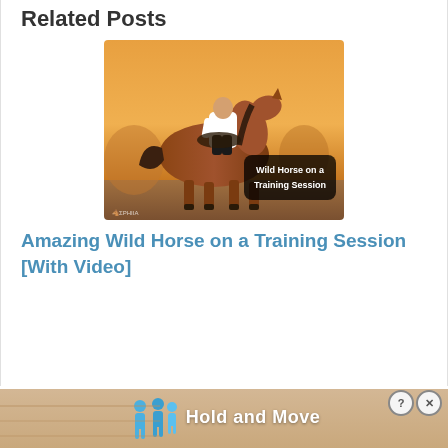Related Posts
[Figure (photo): A person riding a chestnut horse during a training session at sunset, with an orange sky background. Overlay text reads 'Wild Horse on a Training Session'.]
Amazing Wild Horse on a Training Session [With Video]
[Figure (screenshot): Advertisement banner showing 'Hold and Move' mobile game with blue cartoon people figures and a sandy/desert background. Has a question mark button and X close button in top right.]